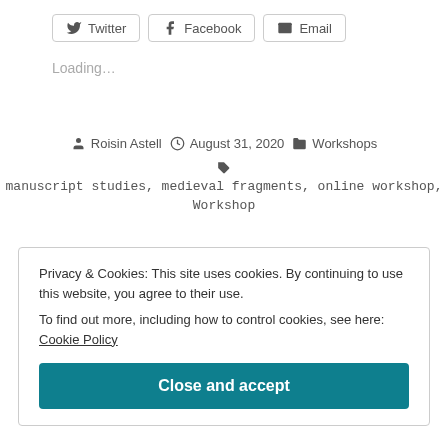[Figure (other): Social share buttons: Twitter, Facebook, Email]
Loading…
Roisin Astell  August 31, 2020  Workshops
manuscript studies, medieval fragments, online workshop, Workshop
Privacy & Cookies: This site uses cookies. By continuing to use this website, you agree to their use. To find out more, including how to control cookies, see here: Cookie Policy
Close and accept